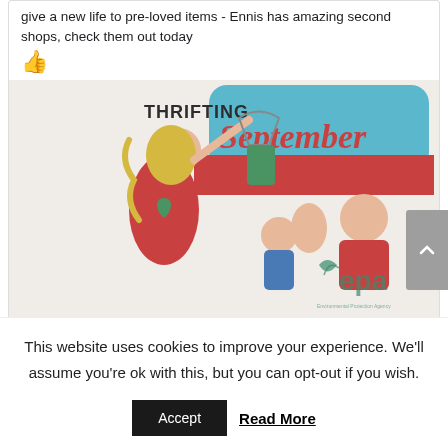give a new life to pre-loved items - Ennis has amazing second shops, check them out today 👍
[Figure (illustration): Promotional illustration for 'Thrifting September' campaign by the EPA (Environmental Protection Agency), showing a woman holding up a green garment on a hanger, a child, and a man giving a thumbs up. The text 'THRIFTING' and 'September' appear prominently.]
TidyTowns Ireland and 5 others
12
This website uses cookies to improve your experience. We'll assume you're ok with this, but you can opt-out if you wish.
Accept
Read More